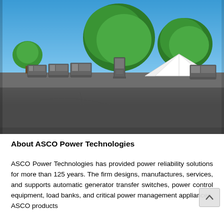[Figure (photo): Outdoor photograph showing power generator units and electrical equipment on pallets in a parking lot area, with large green trees in the background, a white tent structure, and a clear blue sky. Multiple grey generator enclosures are lined up.]
About ASCO Power Technologies
ASCO Power Technologies has provided power reliability solutions for more than 125 years. The firm designs, manufactures, services, and supports automatic generator transfer switches, power control equipment, load banks, and critical power management appliances. ASCO products